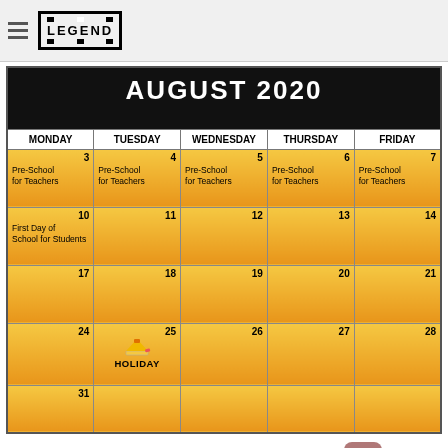THE LEGEND
[Figure (other): August 2020 school calendar showing Pre-School for Teachers Aug 3-7, First Day of School for Students Aug 10, Holiday on Aug 25, with golden/orange colored cells]
SUMMER ENDS WHEN?